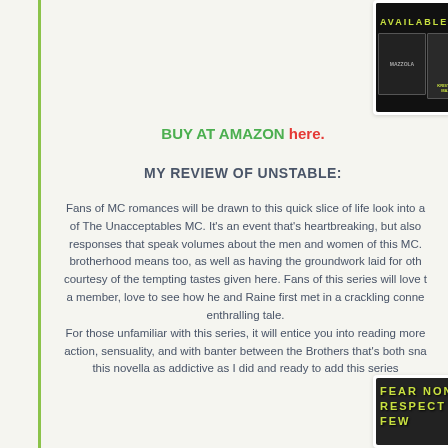[Figure (photo): Book cover promotional banner with 'AVAILABLE NOW' text in yellow-green on dark background, with book cover thumbnails on the right]
BUY AT AMAZON here.
MY REVIEW OF UNSTABLE:
Fans of MC romances will be drawn to this quick slice of life look into an of The Unacceptables MC. It's an event that's heartbreaking, but also responses that speak volumes about the men and women of this MC. brotherhood means too, as well as having the groundwork laid for oth courtesy of the tempting tastes given here. Fans of this series will love t a member, love to see how he and Raine first met in a crackling conne enthralling tale. For those unfamiliar with this series, it will entice you into reading more action, sensuality, and with banter between the Brothers that's both sna this novella as addictive as I did and ready to add this series
[Figure (photo): Book cover image with 'FEAR NONE RESPECT FEW' text in yellow-green on dark background]